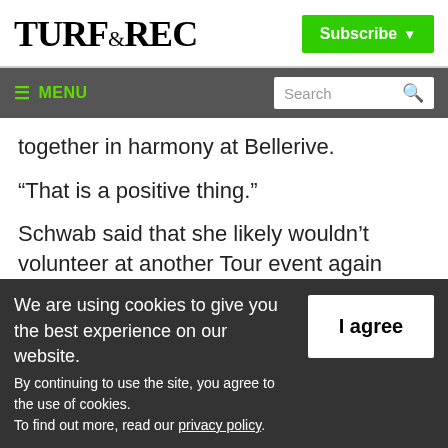TURF&REC
Subscribe
MENU | Search
together in harmony at Bellerive.
“That is a positive thing.”
Schwab said that she likely wouldn’t volunteer at another Tour event again unless it was on a grand scale.
We are using cookies to give you the best experience on our website. By continuing to use the site, you agree to the use of cookies. To find out more, read our privacy policy.